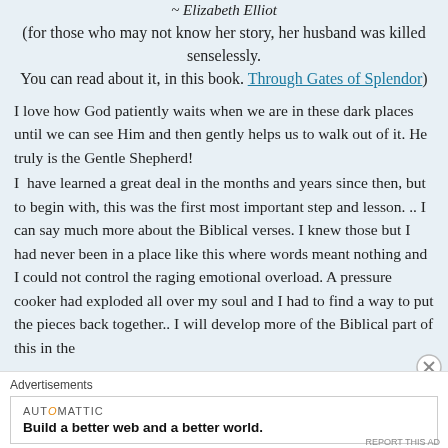~ Elizabeth Elliot
(for those who may not know her story, her husband was killed senselessly. You can read about it, in this book. Through Gates of Splendor)
I love how God patiently waits when we are in these dark places until we can see Him and then gently helps us to walk out of it. He truly is the Gentle Shepherd! I  have learned a great deal in the months and years since then, but to begin with, this was the first most important step and lesson. .. I can say much more about the Biblical verses. I knew those but I had never been in a place like this where words meant nothing and I could not control the raging emotional overload. A pressure cooker had exploded all over my soul and I had to find a way to put the pieces back together.. I will develop more of the Biblical part of this in the
Advertisements
[Figure (other): Automattic advertisement: Build a better web and a better world.]